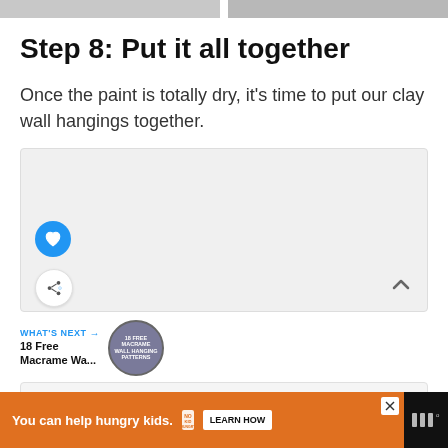[Figure (photo): Two cropped photos side by side at top of page showing craft/painting activity]
Step 8: Put it all together
Once the paint is totally dry, it’s time to put our clay wall hangings together.
[Figure (photo): Large image content area with like/heart button (blue circle) and share button (white circle), and a chevron up arrow]
[Figure (infographic): WHAT’S NEXT promo: 18 Free Macrame Wa... with a badge circle graphic]
You can help hungry kids. NO KID HUNGRY LEARN HOW